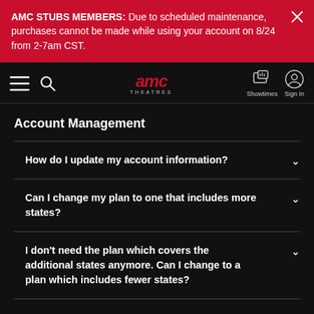AMC STUBS MEMBERS: Due to scheduled maintenance, purchases cannot be made while using your account on 8/24 from 2-7am CST.
[Figure (logo): AMC Theatres logo with hamburger menu, search icon, Showtimes and Sign In navigation icons]
Account Management
How do I update my account information?
Can I change my plan to one that includes more states?
I don't need the plan which covers the additional states anymore. Can I change to a plan which includes fewer states?